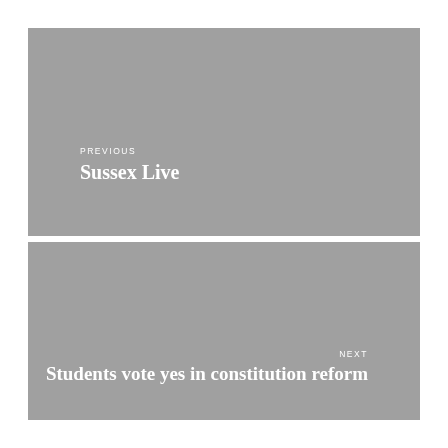[Figure (other): Gray navigation block for previous article]
PREVIOUS
Sussex Live
[Figure (other): Gray navigation block for next article]
NEXT
Students vote yes in constitution reform